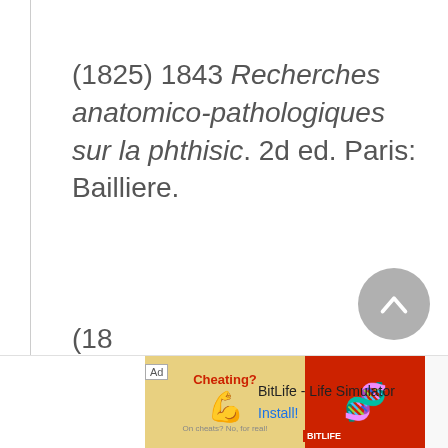(1825) 1843 Recherches anatomico-pathologiques sur la phthisic. 2d ed. Paris: Bailliere.
[Figure (other): Back-to-top navigation button, circular grey button with upward chevron arrow]
[Figure (other): Advertisement banner: BitLife - Life Simulator app ad with Install button]